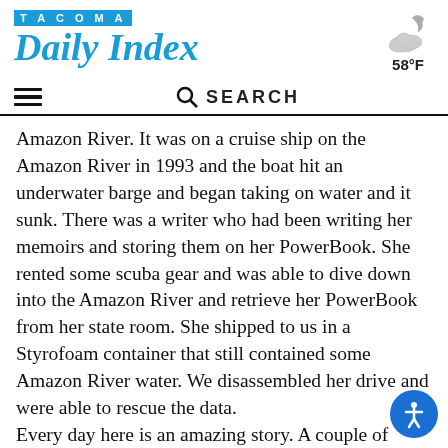TACOMA Daily Index
[Figure (illustration): Partly cloudy night weather icon showing a cloud with moon, with temperature 58°F]
Amazon River. It was on a cruise ship on the Amazon River in 1993 and the boat hit an underwater barge and began taking on water and it sunk. There was a writer who had been writing her memoirs and storing them on her PowerBook. She rented some scuba gear and was able to dive down into the Amazon River and retrieve her PowerBook from her state room. She shipped to us in a Styrofoam container that still contained some Amazon River water. We disassembled her drive and were able to rescue the data.
Every day here is an amazing story. A couple of weeks ago a guy who worked for Oppenheimer investments in New York was crossing Park Avenue